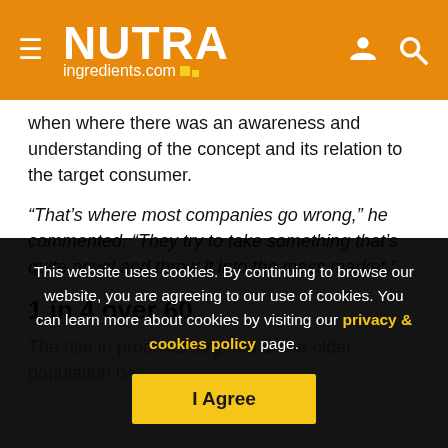NUTRAingredients.com
when where there was an awareness and understanding of the concept and its relation to the target consumer.
“That’s where most companies go wrong,” he commented. “They try to take something that’s quite novel and throw it into the mass market.”
1 in 4 over 60
The rise in products targeted at the older population has
This website uses cookies. By continuing to browse our website, you are agreeing to our use of cookies. You can learn more about cookies by visiting our privacy & cookies policy page.
I Agree